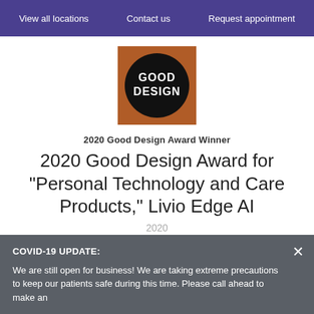View all locations   Contact us   Request appointment
[Figure (logo): Good Design award logo: brown/orange square background with a black circle containing white bold text 'GOOD DESIGN']
2020 Good Design Award Winner
2020 Good Design Award for "Personal Technology and Care Products," Livio Edge AI
2020
COVID-19 UPDATE:
We are still open for business! We are taking extreme precautions to keep our patients safe during this time. Please call ahead to make an appointment and confirm availability. To ensure eligibility